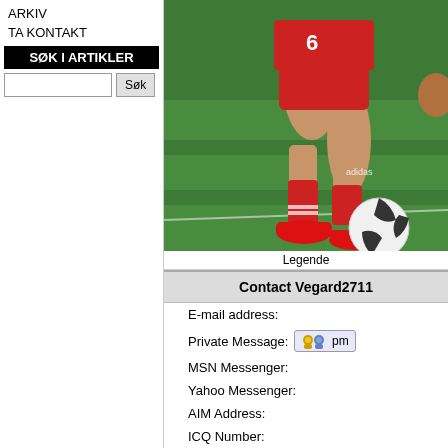ARKIV
TA KONTAKT
SØK I ARTIKLER
[Figure (photo): Soccer player in red uniform dribbling a white and black ball on green turf, shot from mid-body down]
Legende
Contact Vegard2711
E-mail address:
Private Message:
MSN Messenger:
Yahoo Messenger:
AIM Address:
ICQ Number: